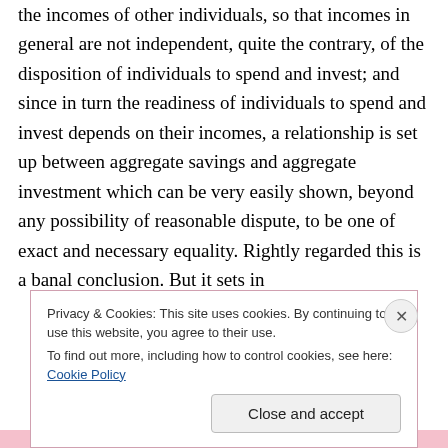the incomes of other individuals, so that incomes in general are not independent, quite the contrary, of the disposition of individuals to spend and invest; and since in turn the readiness of individuals to spend and invest depends on their incomes, a relationship is set up between aggregate savings and aggregate investment which can be very easily shown, beyond any possibility of reasonable dispute, to be one of exact and necessary equality. Rightly regarded this is a banal conclusion. But it sets in
Privacy & Cookies: This site uses cookies. By continuing to use this website, you agree to their use.
To find out more, including how to control cookies, see here: Cookie Policy
Close and accept